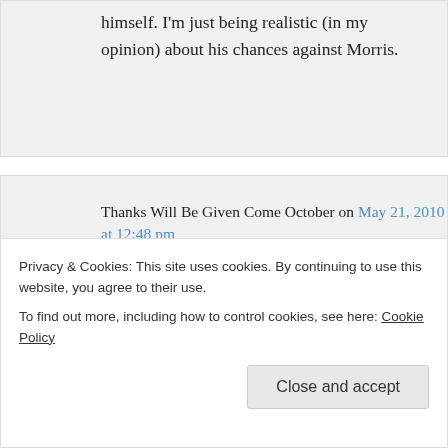himself. I'm just being realistic (in my opinion) about his chances against Morris.
Thanks Will Be Given Come October on May 21, 2010 at 12:48 pm
Hey Older than Dirt, you obviously have Nigel's ear on this, please pass on this advice.
You can be sure that other candidate's will
Privacy & Cookies: This site uses cookies. By continuing to use this website, you agree to their use.
To find out more, including how to control cookies, see here: Cookie Policy
Close and accept